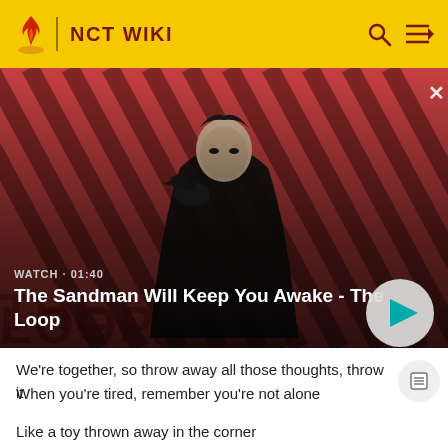NCT WIKI
[Figure (screenshot): Video thumbnail showing The Sandman Will Keep You Awake - The Loop with a dark figure and raven on red/black diagonal striped background. WATCH · 01:40 label shown. Play button on right.]
We're together, so throw away all those thoughts, throw it
When you're tired, remember you're not alone
Like a toy thrown away in the corner
When I am nowhere